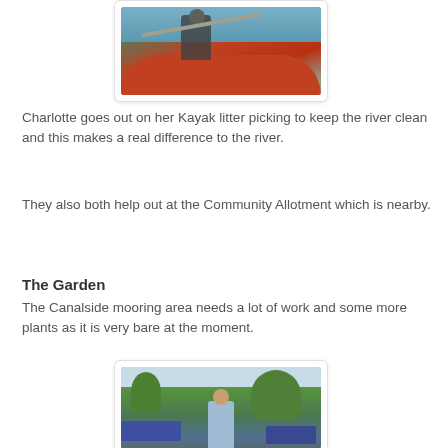[Figure (photo): Person in a red kayak on water, holding a paddle, with litter picking equipment visible]
Charlotte goes out on her Kayak litter picking to keep the river clean and this makes a real difference to the river.
They also both help out at the Community Allotment which is nearby.
The Garden
The Canalside mooring area needs a lot of work and some more plants as it is very bare at the moment.
[Figure (photo): Person standing in a canalside mooring area with boats and trees in the background]